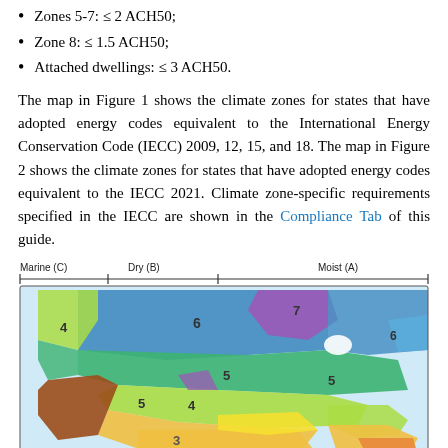Zones 5-7: ≤ 2 ACH50;
Zone 8: ≤ 1.5 ACH50;
Attached dwellings: ≤ 3 ACH50.
The map in Figure 1 shows the climate zones for states that have adopted energy codes equivalent to the International Energy Conservation Code (IECC) 2009, 12, 15, and 18. The map in Figure 2 shows the climate zones for states that have adopted energy codes equivalent to the IECC 2021. Climate zone-specific requirements specified in the IECC are shown in the Compliance Tab of this guide.
[Figure (map): US climate zone map showing Marine (C), Dry (B), and Moist (A) regions with zones numbered 3-7 across the continental United States, color-coded by climate zone.]